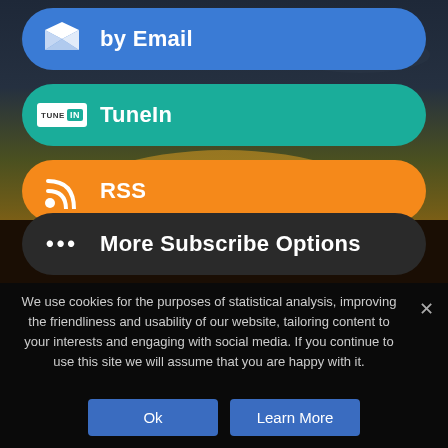[Figure (screenshot): Dark sky/sunset landscape background with silhouette of person]
by Email
TuneIn
RSS
More Subscribe Options
We use cookies for the purposes of statistical analysis, improving the friendliness and usability of our website, tailoring content to your interests and engaging with social media. If you continue to use this site we will assume that you are happy with it.
Ok
Learn More